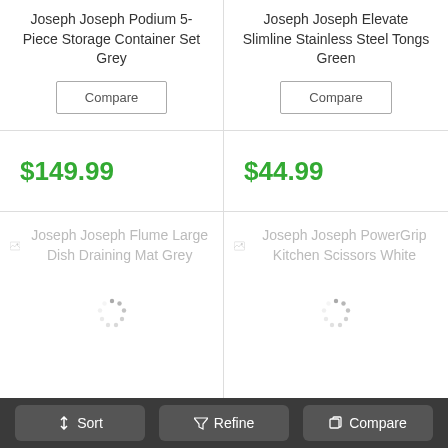Joseph Joseph Podium 5-Piece Storage Container Set Grey
Joseph Joseph Elevate Slimline Stainless Steel Tongs Green
$149.99
$44.99
Joseph Joseph Flume Large Dish Draining Mat Grey
Joseph Joseph PowerGrip Kitchen Scissors White
Sort
Refine
Compare